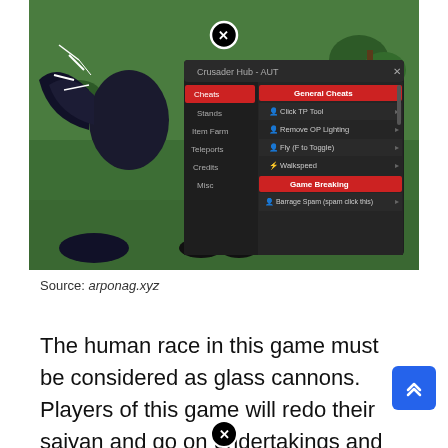[Figure (screenshot): Screenshot of a Roblox game (AUT) showing a 'Crusader Hub - AUT' cheat menu interface. Left panel shows: Cheats (selected, red), Stands, Item Farm, Teleports, Credits, Misc. Right panel shows 'General Cheats' header in red with options: Click TP Tool, Remove OP Lighting, Fly (F to Toggle), Walkspeed. Below is 'Game Breaking' header in red with option: Barrage Spam (spam click this). A close button (X in circle) is at top center. Background shows a grassy game environment with a dark character.]
Source: arponag.xyz
The human race in this game must be considered as glass cannons. Players of this game will redo their saiyan and go on undertakings and missions in th...